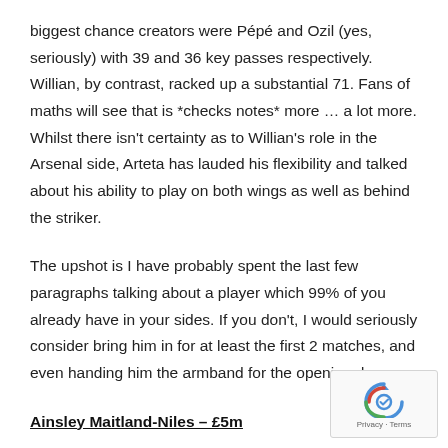biggest chance creators were Pépé and Ozil (yes, seriously) with 39 and 36 key passes respectively. Willian, by contrast, racked up a substantial 71. Fans of maths will see that is *checks notes* more … a lot more. Whilst there isn't certainty as to Willian's role in the Arsenal side, Arteta has lauded his flexibility and talked about his ability to play on both wings as well as behind the striker.
The upshot is I have probably spent the last few paragraphs talking about a player which 99% of you already have in your sides. If you don't, I would seriously consider bring him in for at least the first 2 matches, and even handing him the armband for the opening day.
Ainsley Maitland-Niles – £5m